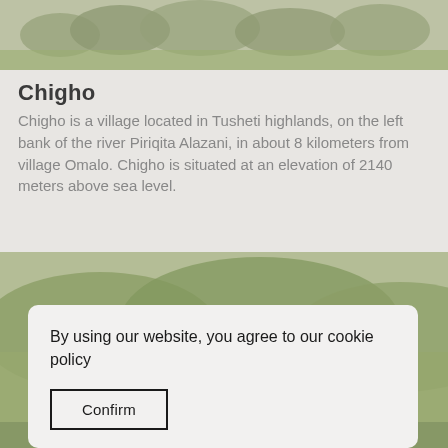[Figure (photo): Aerial or landscape photo of green highland meadows with trees in the background, top of page]
Chigho
Chigho is a village located in Tusheti highlands, on the left bank of the river Piriqita Alazani, in about 8 kilometers from village Omalo. Chigho is situated at an elevation of 2140 meters above sea level.
[Figure (photo): Landscape photo of green Tusheti highland hills and ancient stone ruins/towers at bottom]
By using our website, you agree to our cookie policy
Confirm